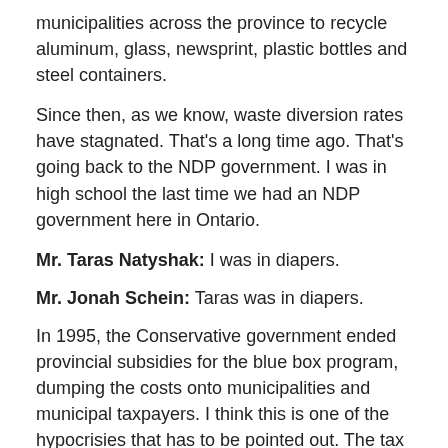municipalities across the province to recycle aluminum, glass, newsprint, plastic bottles and steel containers.
Since then, as we know, waste diversion rates have stagnated. That's a long time ago. That's going back to the NDP government. I was in high school the last time we had an NDP government here in Ontario.
Mr. Taras Natyshak: I was in diapers.
Mr. Jonah Schein: Taras was in diapers.
In 1995, the Conservative government ended provincial subsidies for the blue box program, dumping the costs onto municipalities and municipal taxpayers. I think this is one of the hypocrisies that has to be pointed out. The tax fighters—the Conservatives—are all too willing to subsidize their corporate friends and push those costs down to municipalities—and ultimately paid for by municipal taxpayers.